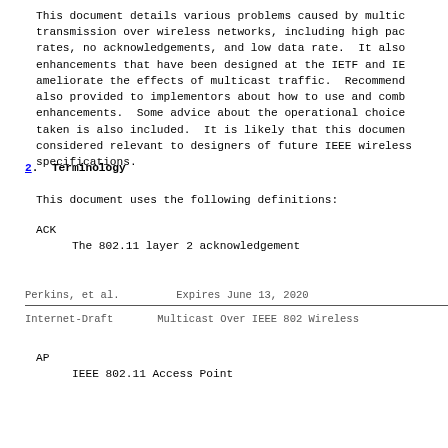This document details various problems caused by multic transmission over wireless networks, including high pac rates, no acknowledgements, and low data rate.  It also enhancements that have been designed at the IETF and IE ameliorate the effects of multicast traffic.  Recommend also provided to implementors about how to use and comb enhancements.  Some advice about the operational choice taken is also included.  It is likely that this documen considered relevant to designers of future IEEE wireless specifications.
2.  Terminology
This document uses the following definitions:
ACK
The 802.11 layer 2 acknowledgement
Perkins, et al.          Expires June 13, 2020
Internet-Draft        Multicast Over IEEE 802 Wireless
AP
IEEE 802.11 Access Point